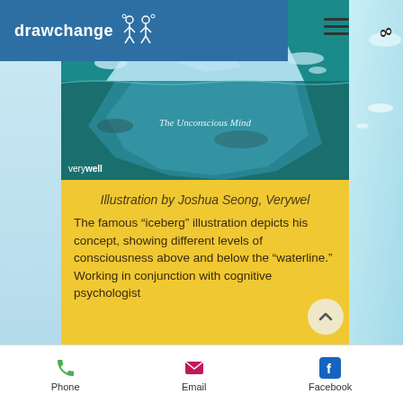drawchange
[Figure (illustration): Iceberg illustration showing 'The Preconscious Mind' above waterline and 'The Unconscious Mind' below, with a verywell watermark, by Joshua Seong]
Illustration by Joshua Seong, Verywel
The famous “iceberg” illustration depicts his concept, showing different levels of consciousness above and below the “waterline.” Working in conjunction with cognitive psychologist
Phone  Email  Facebook